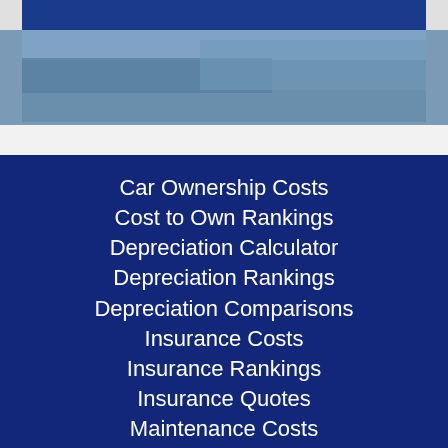[Figure (photo): Top portion of page showing a blue-toned car/automotive photo banner]
Car Ownership Costs
Cost to Own Rankings
Depreciation Calculator
Depreciation Rankings
Depreciation Comparisons
Insurance Costs
Insurance Rankings
Insurance Quotes
Maintenance Costs
Maintenance Rankings
Value Ratings